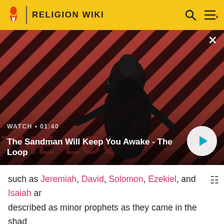RELIGION WIKI
[Figure (screenshot): Video thumbnail showing a dark figure (man in black cloak with a raven on his shoulder) against a red and black diagonal striped background. Text overlay: WATCH • 01:40 / The Sandman Will Keep You Awake - The Loop. A circular play button is visible on the right.]
such as Jeremiah, David, Solomon, Ezekiel, and Isaiah are described as minor prophets as they came in the shadow of the dispensation of Moses to develop and consolidate the process he set in motion.[1] There is, however, no definite list of who is or isn't a minor prophet in the Bahá'í